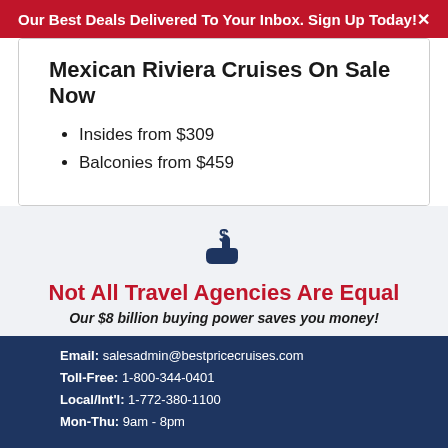Our Best Deals Delivered To Your Inbox. Sign Up Today!
Mexican Riviera Cruises On Sale Now
Insides from $309
Balconies from $459
Explore Sailings
[Figure (illustration): Dollar sign on a hand icon representing savings]
Not All Travel Agencies Are Equal
Our $8 billion buying power saves you money!
Email: salesadmin@bestpricecruises.com
Toll-Free: 1-800-344-0401
Local/Int'l: 1-772-380-1100
Mon-Thu: 9am - 8pm